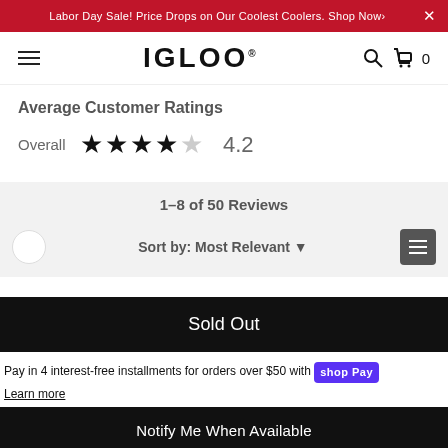Labor Day Sale! Price Drops on Our Coolest Coolers. Shop Now›
[Figure (logo): IGLOO brand logo with hamburger menu, search icon, and cart icon showing 0 items]
Average Customer Ratings
Overall ★★★★☆ 4.2
1–8 of 50 Reviews
Sort by: Most Relevant ▼
Sold Out
Pay in 4 interest-free installments for orders over $50 with shop Pay
Learn more
Notify Me When Available